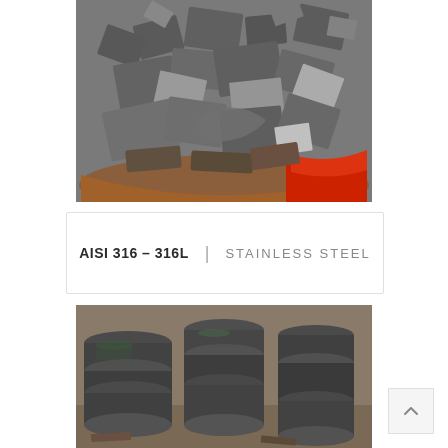[Figure (photo): A large industrial bin or cradle filled with numerous pieces of flat stainless steel scrap metal plates and offcuts, various sizes, in a workshop/yard setting. The bin has a red painted lower section.]
AISI 316 – 316L  |  STAINLESS STEEL
[Figure (photo): A collection of cylindrical and disc-shaped stainless steel industrial components stacked on the ground outdoors, showing machined metal parts of various sizes.]